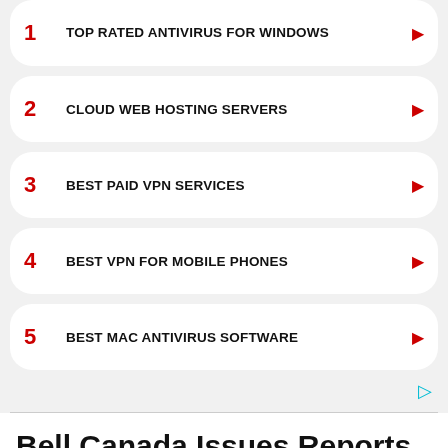1 TOP RATED ANTIVIRUS FOR WINDOWS
2 CLOUD WEB HOSTING SERVERS
3 BEST PAID VPN SERVICES
4 BEST VPN FOR MOBILE PHONES
5 BEST MAC ANTIVIRUS SOFTWARE
Bell Canada Issues Reports
Latest outage, problems and issue reports in social media:
Wayne_from_YEG (@Wayne_From_YEG) reported 6 hours ago